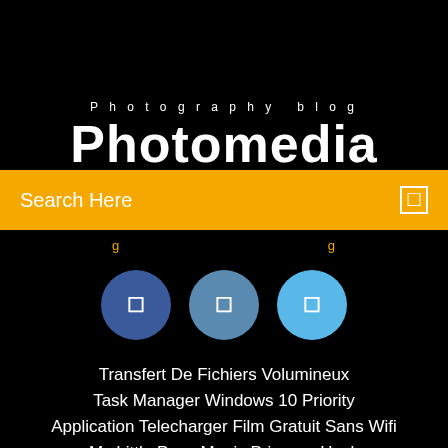Photography blog
Photomedia
Search Here
[Figure (other): Three social media icon circles: dark blue (Facebook), medium blue, and light blue, each with a small white icon]
Transfert De Fichiers Volumineux
Task Manager Windows 10 Priority
Application Telecharger Film Gratuit Sans Wifi
My Little Pony Magic Princess Hack